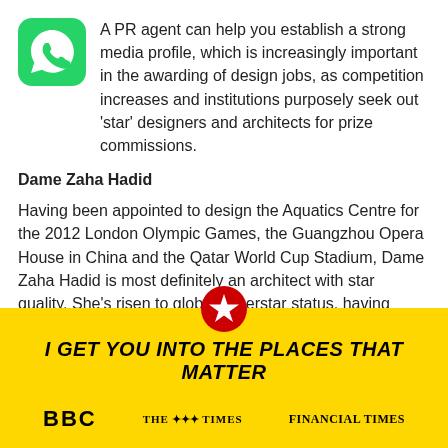[Figure (logo): WhatsApp green rounded square icon with white phone handset]
A PR agent can help you establish a strong media profile, which is increasingly important in the awarding of design jobs, as competition increases and institutions purposely seek out 'star' designers and architects for prize commissions.
Dame Zaha Hadid
Having been appointed to design the Aquatics Centre for the 2012 London Olympic Games, the Guangzhou Opera House in China and the Qatar World Cup Stadium, Dame Zaha Hadid is most definitely an architect with star quality. She's risen to global superstar status, having
[Figure (logo): Red circle with white star badge]
I GET YOU INTO THE PLACES THAT MATTER
[Figure (logo): BBC logo in bold black letters]
[Figure (logo): THE SUNDAY TIMES logo]
[Figure (logo): FINANCIAL TIMES logo]